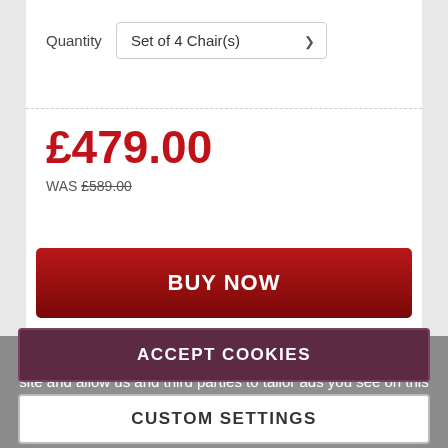Quantity   Set of 4 Chair(s)
£479.00
WAS £589.00
BUY NOW
Or from £35.58 p/m, 0% credit with DivideBuy
Delivery in: 1 - 2 Weeks
We use cookies to help give you the best experience on our site and allow us and third parties to tailor ads you see on this and other websites. By continuing you agree to our use of cookies.
ACCEPT COOKIES
CUSTOM SETTINGS